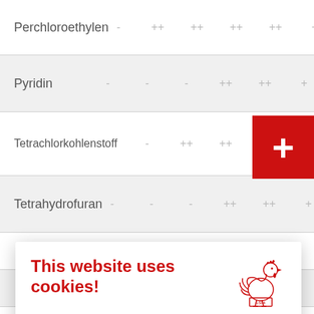| Chemical | col1 | col2 | col3 | col4 | col5 |
| --- | --- | --- | --- | --- | --- |
| Perchloroethylen | - | ++ | ++ | ++ | ++ |
| Pyridin | - | - | - | ++ | ++ |
| Tetrachlorkohlenstoff | - | ++ | ++ | ++ | + |
| Tetrahydrofuran | - | - | - | ++ | ++ |
[Figure (screenshot): Cookie consent dialog overlay with rooster logo, title 'This website uses cookies!', descriptive text, Accept all button, and Accept only essential cookies link]